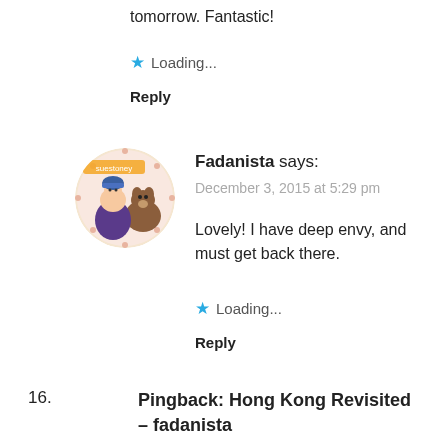tomorrow. Fantastic!
★ Loading...
Reply
[Figure (illustration): Circular avatar image showing cartoon characters with 'suestoney' label]
Fadanista says:
December 3, 2015 at 5:29 pm
Lovely! I have deep envy, and must get back there.
★ Loading...
Reply
16.
Pingback: Hong Kong Revisited – fadanista